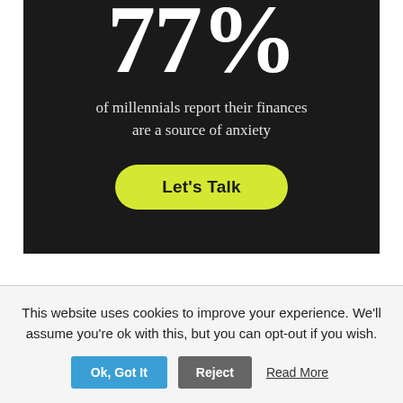[Figure (infographic): Dark black panel showing large white text '77%' with subtitle 'of millennials report their finances are a source of anxiety' and a yellow-green 'Let's Talk' call-to-action button]
This website uses cookies to improve your experience. We'll assume you're ok with this, but you can opt-out if you wish.
Ok, Got It   Reject   Read More